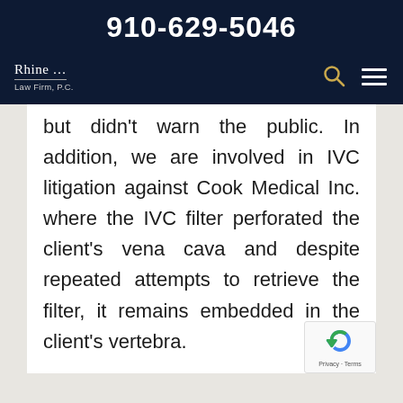910-629-5046
[Figure (logo): Rhine Law Firm, P.C. logo with navigation icons including search and hamburger menu on dark navy background]
but didn't warn the public. In addition, we are involved in IVC litigation against Cook Medical Inc. where the IVC filter perforated the client's vena cava and despite repeated attempts to retrieve the filter, it remains embedded in the client's vertebra.